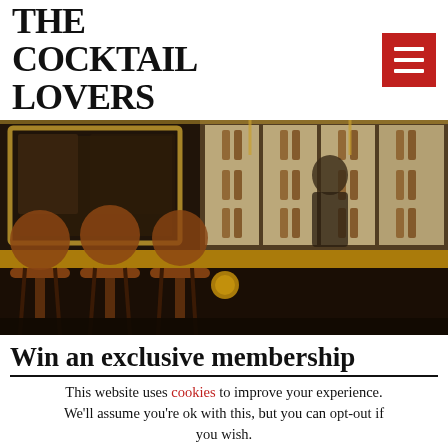THE COCKTAIL LOVERS
[Figure (photo): Interior of an upscale bar with leather stools, dark wood counter, gold accents, illuminated shelves of spirit bottles in the background, and a bartender visible behind the bar.]
Win an exclusive membership
This website uses cookies to improve your experience. We'll assume you're ok with this, but you can opt-out if you wish.
Cookie settings   ACCEPT